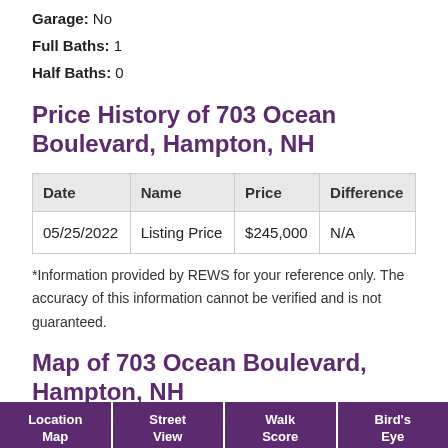Garage: No
Full Baths: 1
Half Baths: 0
Price History of 703 Ocean Boulevard, Hampton, NH
| Date | Name | Price | Difference |
| --- | --- | --- | --- |
| 05/25/2022 | Listing Price | $245,000 | N/A |
*Information provided by REWS for your reference only. The accuracy of this information cannot be verified and is not guaranteed.
Map of 703 Ocean Boulevard, Hampton, NH
Location Map | Street View | Walk Score | Bird's Eye